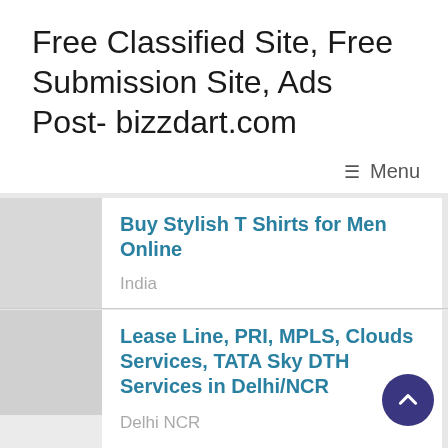Free Classified Site, Free Submission Site, Ads Post- bizzdart.com
≡ Menu
Buy Stylish T Shirts for Men Online
India
Lease Line, PRI, MPLS, Clouds Services, TATA Sky DTH Services in Delhi/NCR
Delhi NCR